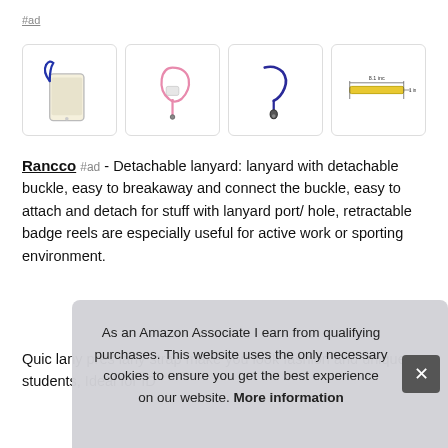#ad
[Figure (photo): Four product images of phone lanyards/wrist straps: 1) phone with blue wrist strap, 2) pink wrist loop strap, 3) navy blue lanyard with clip, 4) yellow lanyard with dimension diagram]
Rancco #ad - Detachable lanyard: lanyard with detachable buckle, easy to breakaway and connect the buckle, easy to attach and detach for stuff with lanyard port/ hole, retractable badge reels are especially useful for active work or sporting environment.
Quick... lany... pres... lany... strap make you look fashion and unique, students, Ideal for ID
As an Amazon Associate I earn from qualifying purchases. This website uses the only necessary cookies to ensure you get the best experience on our website. More information